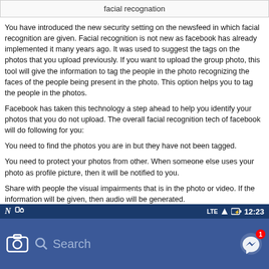facial recognation
You have introduced the new security setting on the newsfeed in which facial recognition are given. Facial recognition is not new as facebook has already implemented it many years ago. It was used to suggest the tags on the photos that you upload previously. If you want to upload the group photo, this tool will give the information to tag the people in the photo recognizing the faces of the people being present in the photo. This option helps you to tag the people in the photos.
Facebook has taken this technology a step ahead to help you identify your photos that you do not upload. The overall facial recognition tech of facebook will do following for you:
You need to find the photos you are in but they have not been tagged.
You need to protect your photos from other. When someone else uses your photo as profile picture, then it will be notified to you.
Share with people the visual impairments that is in the photo or video. If the information will be given, then audio will be generated.
[Figure (screenshot): Screenshot of a Facebook mobile app interface showing a status bar with LTE signal, battery icon showing 12:23, and a search bar with camera icon and messenger icon with notification badge showing 1.]